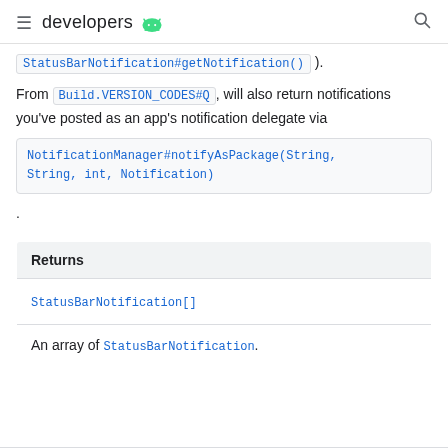developers [android logo]
StatusBarNotification#getNotification() ).
From Build.VERSION_CODES#Q , will also return notifications you've posted as an app's notification delegate via NotificationManager#notifyAsPackage(String, String, int, Notification) .
| Returns |
| --- |
| StatusBarNotification[] |
| An array of StatusBarNotification. |